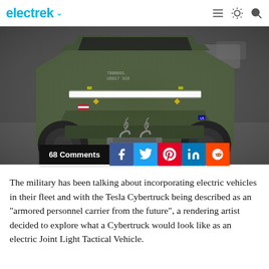electrek
[Figure (photo): Military-style rendering of a Tesla Cybertruck in olive/dark green color, front view, with angular armored body, white LED headlight strip, tow hooks and chains at the front bumper, large off-road tires, driving on a road.]
68 Comments
The military has been talking about incorporating electric vehicles in their fleet and with the Tesla Cybertruck being described as an "armored personnel carrier from the future", a rendering artist decided to explore what a Cybertruck would look like as an electric Joint Light Tactical Vehicle.